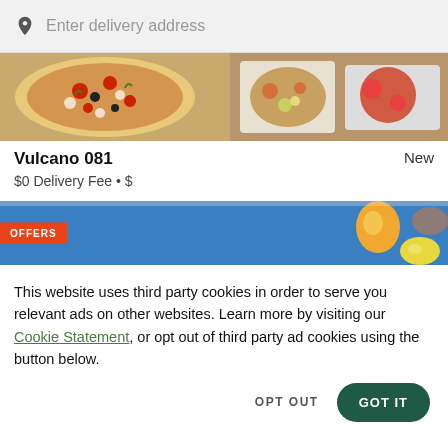Enter delivery address
[Figure (photo): Food image banner showing pizza and various dishes on plates]
Vulcano 081
New
$0 Delivery Fee • $
[Figure (photo): Offers banner with blue background, egg and lemon shapes, with OFFERS badge]
This website uses third party cookies in order to serve you relevant ads on other websites. Learn more by visiting our Cookie Statement, or opt out of third party ad cookies using the button below.
OPT OUT
GOT IT